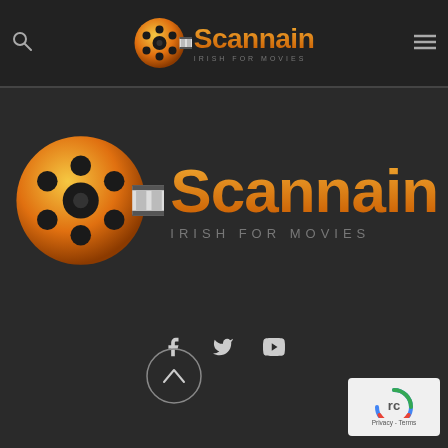[Figure (logo): Scannain website header with film reel logo and 'IRISH FOR MOVIES' tagline, search icon and hamburger menu]
[Figure (logo): Scannain large logo centered on dark background with film reel graphic, orange text 'Scannain' and 'IRISH FOR MOVIES' subtitle]
[Figure (infographic): Social media icons: Facebook, Twitter, YouTube]
[Figure (other): Back to top button - circular arrow pointing up]
[Figure (other): Google reCAPTCHA badge - Privacy Terms]